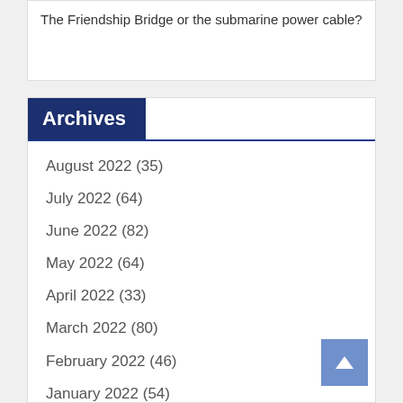The Friendship Bridge or the submarine power cable?
Archives
August 2022 (35)
July 2022 (64)
June 2022 (82)
May 2022 (64)
April 2022 (33)
March 2022 (80)
February 2022 (46)
January 2022 (54)
December 2021 (68)
November 2021 (47)